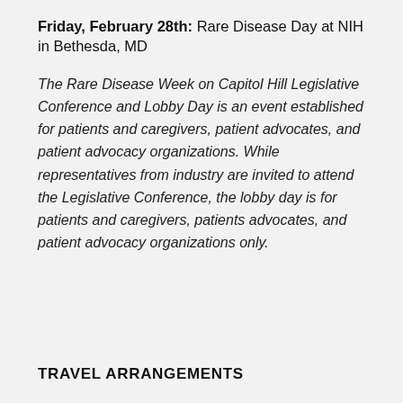Friday, February 28th: Rare Disease Day at NIH in Bethesda, MD
The Rare Disease Week on Capitol Hill Legislative Conference and Lobby Day is an event established for patients and caregivers, patient advocates, and patient advocacy organizations. While representatives from industry are invited to attend the Legislative Conference, the lobby day is for patients and caregivers, patients advocates, and patient advocacy organizations only.
TRAVEL ARRANGEMENTS